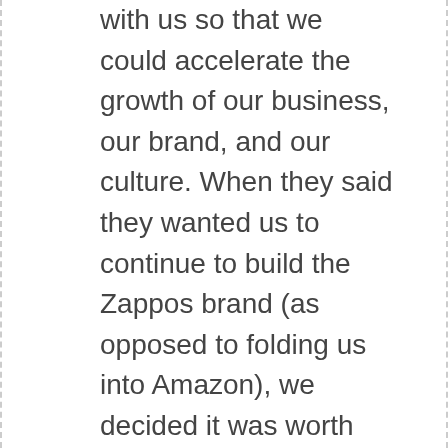they wanted to join forces with us so that we could accelerate the growth of our business, our brand, and our culture. When they said they wanted us to continue to build the Zappos brand (as opposed to folding us into Amazon), we decided it was worth exploring what a partnership would look like.

We learned that they truly wanted us to continue to build the Zappos brand...